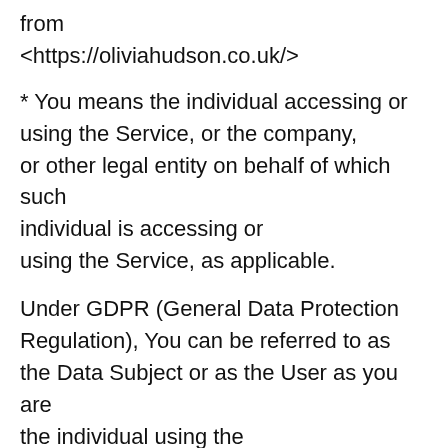from
<https://oliviahudson.co.uk/>
* You means the individual accessing or using the Service, or the company, or other legal entity on behalf of which such individual is accessing or using the Service, as applicable.
Under GDPR (General Data Protection Regulation), You can be referred to as the Data Subject or as the User as you are the individual using the Service.
Collecting and Using Your Personal Data
========================================
Types of Data Collected